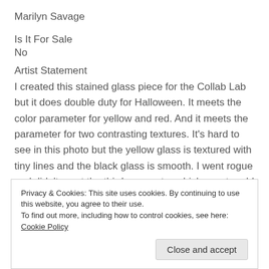Marilyn Savage
Is It For Sale
No
Artist Statement
I created this stained glass piece for the Collab Lab but it does double duty for Halloween. It meets the color parameter for yellow and red. And it meets the parameter for two contrasting textures. It’s hard to see in this photo but the yellow glass is textured with tiny lines and the black glass is smooth. I went rogue and didn’t meet the third parameter which was to add a surreal element. This is the first time I’ve worked with these options and I…
Privacy & Cookies: This site uses cookies. By continuing to use this website, you agree to their use.
To find out more, including how to control cookies, see here: Cookie Policy
Close and accept